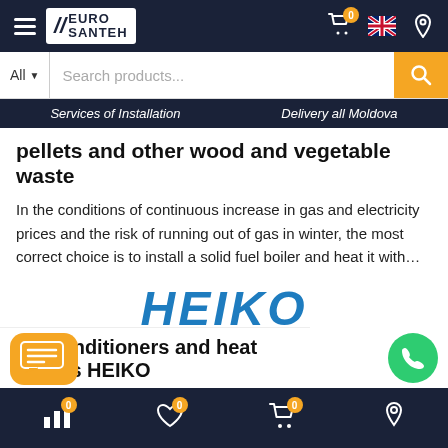EURO SANTEH
pellets and other wood and vegetable waste
In the conditions of continuous increase in gas and electricity prices and the risk of running out of gas in winter, the most correct choice is to install a solid fuel boiler and heat it with…
[Figure (logo): HEIKO MOLDOVA logo in blue and orange]
Air conditioners and heat pumps HEIKO
Bottom navigation bar with icons: bar chart, heart, cart, location